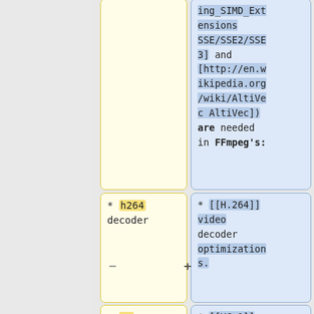ing_SIMD_Extensions SSE/SSE2/SSE3] and [http://en.wikipedia.org/wiki/AltiVec AltiVec]) are needed in FFmpeg's:
* h264 decoder
* [[H.264]] video decoder optimizations.
* vc-1 decoder
* [[VC-1]] video decoder optimizations.